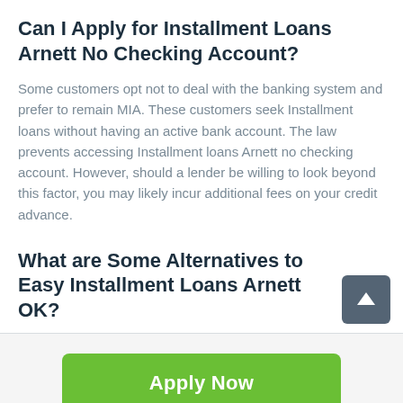Can I Apply for Installment Loans Arnett No Checking Account?
Some customers opt not to deal with the banking system and prefer to remain MIA. These customers seek Installment loans without having an active bank account. The law prevents accessing Installment loans Arnett no checking account. However, should a lender be willing to look beyond this factor, you may likely incur additional fees on your credit advance.
What are Some Alternatives to Easy Installment Loans Arnett OK?
[Figure (other): Scroll-to-top button: dark grey rounded square with upward arrow icon]
Apply Now
Applying does NOT affect your credit score!
No credit check to apply.